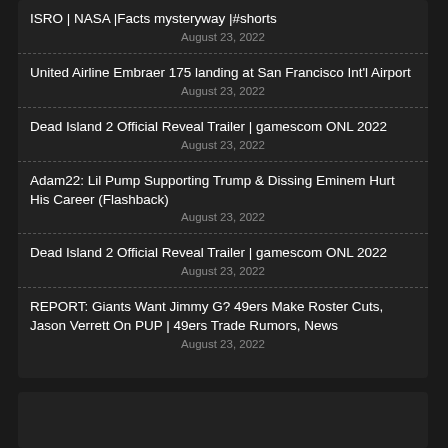ISRO | NASA |Facts mysteryway |#shorts
August 23, 2022
United Airline Embraer 175 landing at San Francisco Int'l Airport
August 23, 2022
Dead Island 2 Official Reveal Trailer | gamescom ONL 2022
August 23, 2022
Adam22: Lil Pump Supporting Trump & Dissing Eminem Hurt His Career (Flashback)
August 23, 2022
Dead Island 2 Official Reveal Trailer | gamescom ONL 2022
August 23, 2022
REPORT: Giants Want Jimmy G? 49ers Make Roster Cuts, Jason Verrett On PUP | 49ers Trade Rumors, News
August 23, 2022